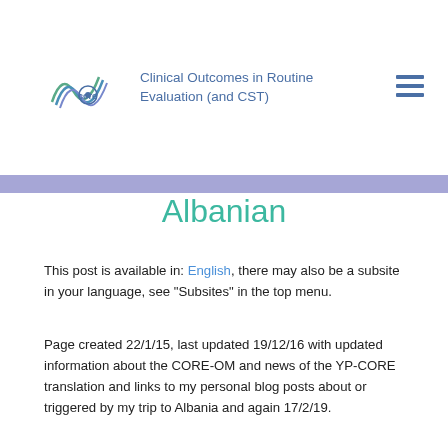[Figure (logo): CORE logo with stylized wave lines and circular element, alongside text 'Clinical Outcomes in Routine Evaluation (and CST)']
Albanian
This post is available in: English, there may also be a subsite in your language, see "Subsites" in the top menu.
Page created 22/1/15, last updated 19/12/16 with updated information about the CORE-OM and news of the YP-CORE translation and links to my personal blog posts about or triggered by my trip to Albania and again 17/2/19.